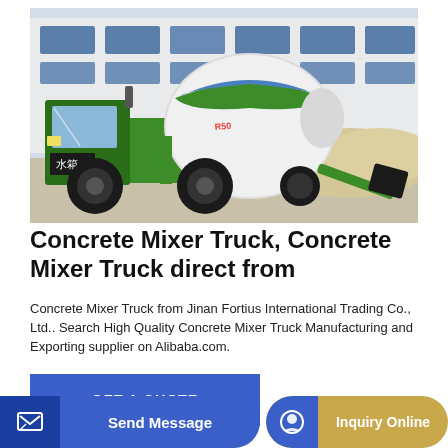[Figure (photo): A green concrete mixer truck with a large white rotating drum, parked in front of a building with sand piles in the background. Chinese text '水箱' (water tank) is visible on the truck.]
Concrete Mixer Truck, Concrete Mixer Truck direct from
Concrete Mixer Truck from Jinan Fortius International Trading Co., Ltd.. Search High Quality Concrete Mixer Truck Manufacturing and Exporting supplier on Alibaba.com.
GET A QUOTE
Send Message
Inquiry Online